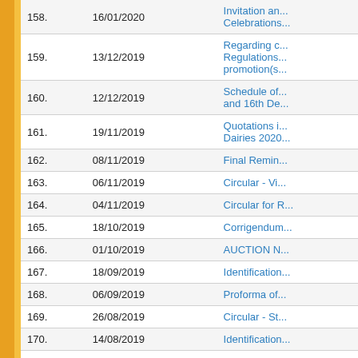| No. | Date | Subject |
| --- | --- | --- |
| 158. | 16/01/2020 | Invitation an... Celebrations... |
| 159. | 13/12/2019 | Regarding c... Regulations... promotion(s... |
| 160. | 12/12/2019 | Schedule of... and 16th De... |
| 161. | 19/11/2019 | Quotations i... Dairies 2020... |
| 162. | 08/11/2019 | Final Remin... |
| 163. | 06/11/2019 | Circular - Vi... |
| 164. | 04/11/2019 | Circular for R... |
| 165. | 18/10/2019 | Corrigendum... |
| 166. | 01/10/2019 | AUCTION N... |
| 167. | 18/09/2019 | Identification... |
| 168. | 06/09/2019 | Proforma of... |
| 169. | 26/08/2019 | Circular - St... |
| 170. | 14/08/2019 | Identification... |
| 171. | 05/08/2019 | Invitation for... |